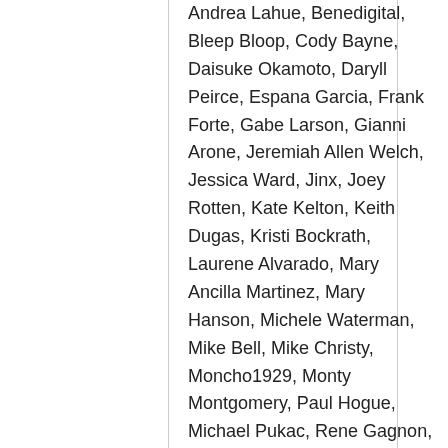Andrea Lahue, Benedigital, Bleep Bloop, Cody Bayne, Daisuke Okamoto, Daryll Peirce, Espana Garcia, Frank Forte, Gabe Larson, Gianni Arone, Jeremiah Allen Welch, Jessica Ward, Jinx, Joey Rotten, Kate Kelton, Keith Dugas, Kristi Bockrath, Laurene Alvarado, Mary Ancilla Martinez, Mary Hanson, Michele Waterman, Mike Bell, Mike Christy, Moncho1929, Monty Montgomery, Paul Hogue, Michael Pukac, Rene Gagnon, Scott Holloway, Septerhed, Toshee, Vakseen, Valerie Pobjoy, and William Zdan Zodiac will be on view through May 23rd, 2015. A reception for the artists is on Saturday, May 16th, 12p.m.-4 p.m. and is sponsored by Hubert's and...